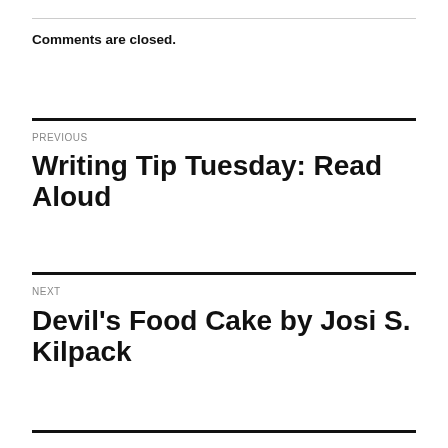Comments are closed.
PREVIOUS
Writing Tip Tuesday: Read Aloud
NEXT
Devil's Food Cake by Josi S. Kilpack